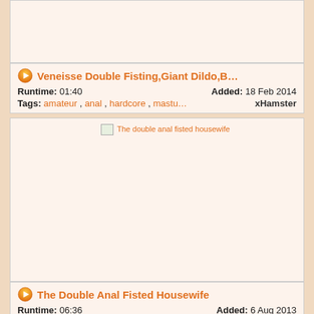[Figure (photo): Video thumbnail placeholder (top, partially visible), light beige background]
Veneisse Double Fisting,Giant Dildo,B… Runtime: 01:40 Added: 18 Feb 2014 Tags: amateur , anal , hardcore , mastu… xHamster
[Figure (photo): Video thumbnail for 'The double anal fisted housewife', large image area, light beige background]
The Double Anal Fisted Housewife Runtime: 06:36 Added: 6 Aug 2013